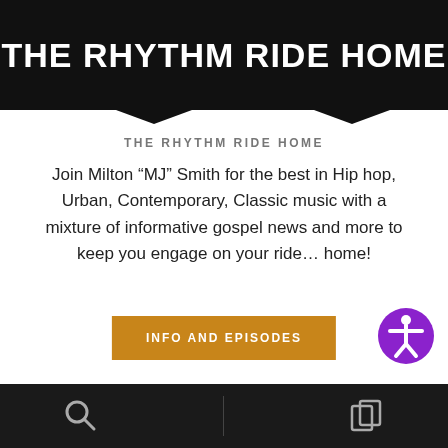THE RHYTHM RIDE HOME
THE RHYTHM RIDE HOME
Join Milton “MJ” Smith for the best in Hip hop, Urban, Contemporary, Classic music with a mixture of informative gospel news and more to keep you engage on your ride… home!
INFO AND EPISODES
TUNE IN TO US NOW
[Figure (logo): LISTEN LIVE with radio wave icon]
[Figure (other): Bottom toolbar with search and copy icons]